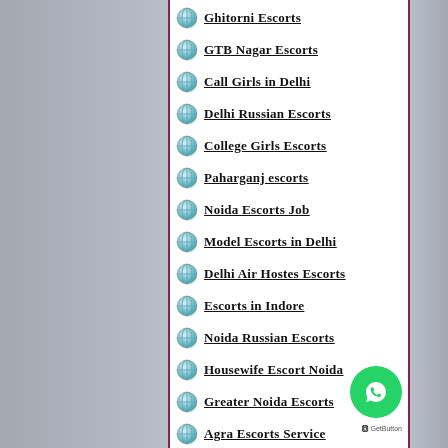Ghitorni Escorts
GTB Nagar Escorts
Call Girls in Delhi
Delhi Russian Escorts
College Girls Escorts
Paharganj escorts
Noida Escorts Job
Model Escorts in Delhi
Delhi Air Hostes Escorts
Escorts in Indore
Noida Russian Escorts
Housewife Escort Noida
Greater Noida Escorts
Agra Escorts Service
Delhi Young Escorts
Delhi Punjabi Escorts